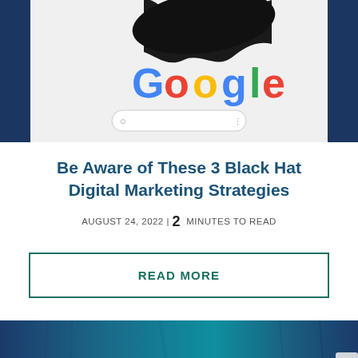[Figure (screenshot): Screenshot showing a Google search interface with a dark wavy element at top and a search bar, flanked by dark navy blue side panels.]
Be Aware of These 3 Black Hat Digital Marketing Strategies
AUGUST 24, 2022 | 2 MINUTES TO READ
READ MORE
[Figure (photo): Partial view of a dark blue teal background image, appears to be a technology/digital marketing themed banner.]
[Figure (other): Messages app icon — speech bubble with three dots — with label 'Messages' below.]